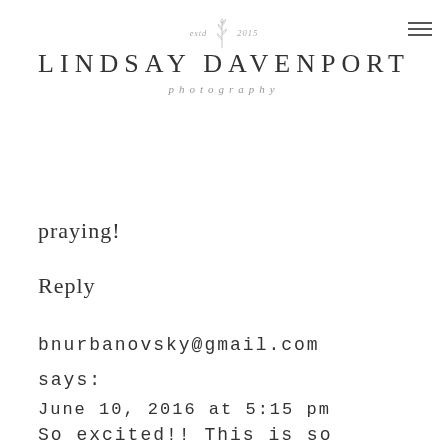[Figure (logo): Lindsay Davenport Photography logo with botanical sprig, 'estd 2015' text, large name in uppercase spaced letters, and 'photography' in italic below]
praying!
Reply
bnurbanovsky@gmail.com
says:
June 10, 2016 at 5:15 pm
So excited!! This is so amazing! Congrats! I'll be